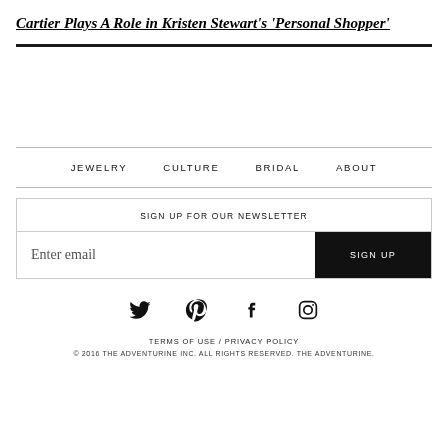Cartier Plays A Role in Kristen Stewart's 'Personal Shopper'
JEWELRY  CULTURE  BRIDAL  ABOUT
SIGN UP FOR OUR NEWSLETTER
Enter email  SIGN UP
[Figure (illustration): Social media icons: Twitter, Pinterest, Facebook, Instagram]
TERMS OF USE / PRIVACY POLICY
© 2016 THE ADVENTURINE INC. ALL RIGHTS RESERVED. THE ADVENTURINE.